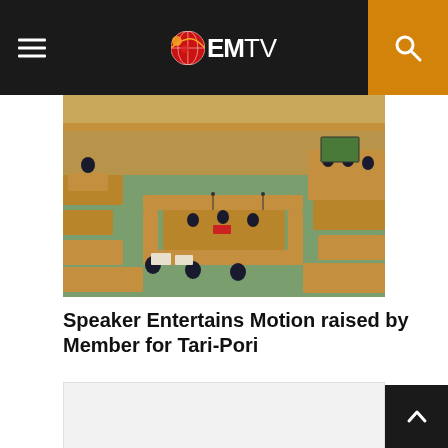EMTV
[Figure (photo): Aerial/overhead view of a parliament chamber with green carpet, wooden desks, and people in formal attire seated around the chamber.]
Speaker Entertains Motion raised by Member for Tari-Pori